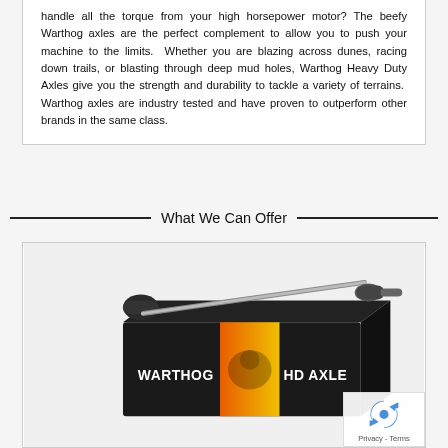handle all the torque from your high horsepower motor? The beefy Warthog axles are the perfect complement to allow you to push your machine to the limits. Whether you are blazing across dunes, racing down trails, or blasting through deep mud holes, Warthog Heavy Duty Axles give you the strength and durability to tackle a variety of terrains. Warthog axles are industry tested and have proven to outperform other brands in the same class.
What We Can Offer
[Figure (photo): Photo of a Warthog HD Axle product — a CV axle shaft placed on top of a black product box labeled 'WARTHOG HD AXLE' with an orange and yellow warthog logo graphic.]